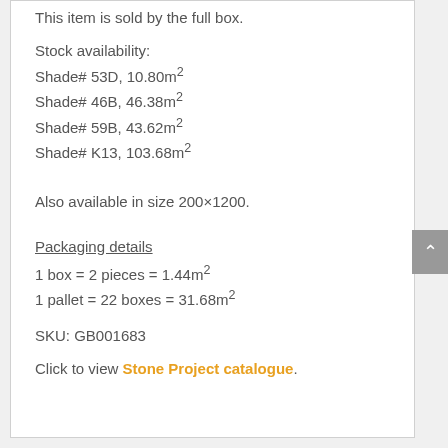This item is sold by the full box.
Stock availability:
Shade# 53D, 10.80m2
Shade# 46B, 46.38m2
Shade# 59B, 43.62m2
Shade# K13, 103.68m2
Also available in size 200×1200.
Packaging details
1 box = 2 pieces = 1.44m2
1 pallet = 22 boxes = 31.68m2
SKU: GB001683
Click to view Stone Project catalogue.